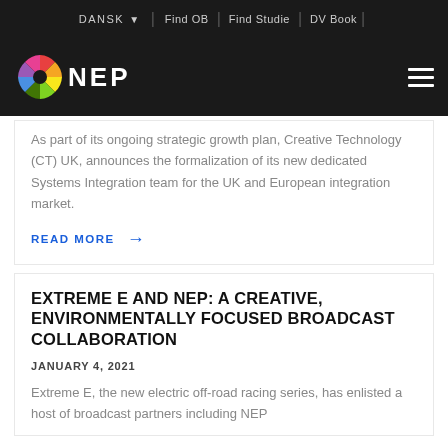DANSK | Find OB | Find Studie | DV Book |
[Figure (logo): NEP colorful pinwheel logo with text NEP in white on dark background]
As part of its ongoing strategic growth plan, Creative Technology (CT) UK, announces the formalization of its new dedicated Systems Integration team for the UK and European integration market.
READ MORE →
EXTREME E AND NEP: A CREATIVE, ENVIRONMENTALLY FOCUSED BROADCAST COLLABORATION
JANUARY 4, 2021
Extreme E, the new electric off-road racing series, has enlisted a host of broadcast partners including NEP